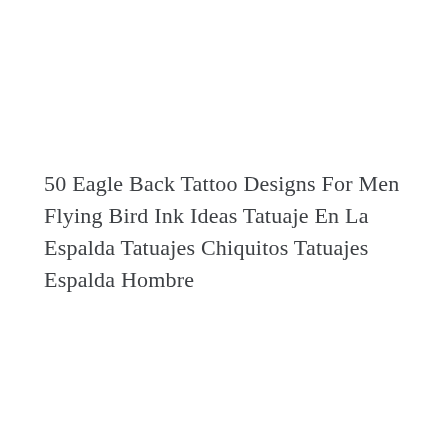50 Eagle Back Tattoo Designs For Men Flying Bird Ink Ideas Tatuaje En La Espalda Tatuajes Chiquitos Tatuajes Espalda Hombre